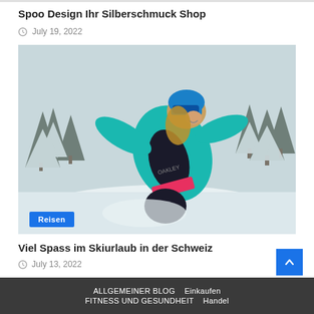Spoo Design Ihr Silberschmuck Shop
July 19, 2022
[Figure (photo): A snowboarder in teal Oakley jacket and blue helmet leaning forward in snowy mountain landscape with snow-covered pine trees. A blue 'Reisen' category badge is overlaid in the bottom left corner.]
Viel Spass im Skiurlaub in der Schweiz
July 13, 2022
ALLGEMEINER BLOG   Einkaufen   FITNESS UND GESUNDHEIT   Handel